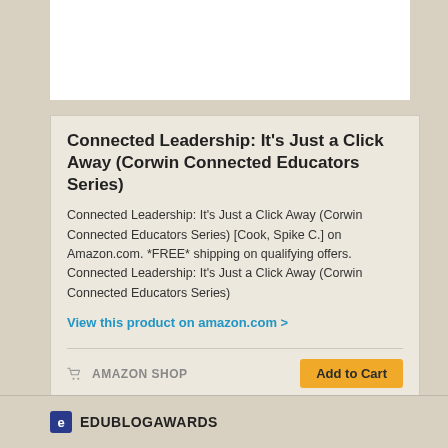[Figure (other): White rectangle at top, representing a book cover image placeholder]
Connected Leadership: It's Just a Click Away (Corwin Connected Educators Series)
Connected Leadership: It's Just a Click Away (Corwin Connected Educators Series) [Cook, Spike C.] on Amazon.com. *FREE* shipping on qualifying offers. Connected Leadership: It's Just a Click Away (Corwin Connected Educators Series)
View this product on amazon.com >
AMAZON SHOP   Add to Cart
powered by embedly
EDUBLOGAWARDS